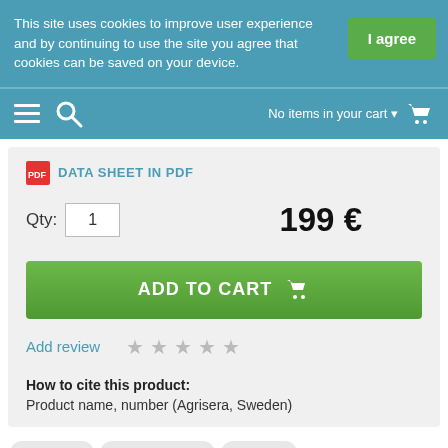This site uses cookies to improve user experience and by continuing to use the site you agree that cookies can be saved on your device.
I agree
No items in your cart
DATA SHEET IN PDF
Qty: 1   199 €
ADD TO CART
Add review
How to cite this product:
Product name, number (Agrisera, Sweden)
Data sheet   Product citations   Protocols